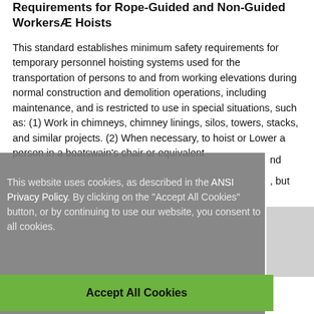Requirements for Rope-Guided and Non-Guided WorkersÆ Hoists
This standard establishes minimum safety requirements for temporary personnel hoisting systems used for the transportation of persons to and from working elevations during normal construction and demolition operations, including maintenance, and is restricted to use in special situations, such as: (1) Work in chimneys, chimney linings, silos, towers, stacks, and similar projects. (2) When necessary, to hoist or Lower a person in a boatswain's chair or equivalent nd , but
This website uses cookies, as described in the ANSI Privacy Policy. By clicking on the "Accept All Cookies" button, or by continuing to use our website, you consent to all cookies.
Accept All Cookies
PDF Price